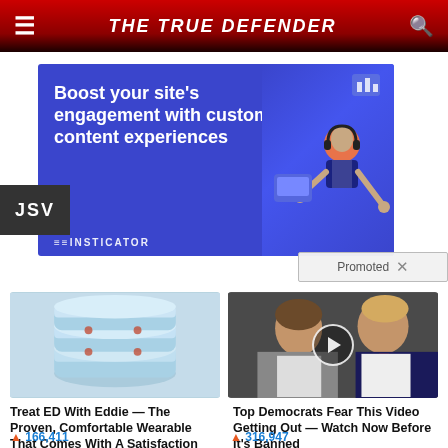THE TRUE DEFENDER
[Figure (infographic): Blue advertisement banner for Insticator: 'Boost your site's engagement with custom content experiences' with illustrated graphic and Promoted label]
JSV
[Figure (photo): Light blue wearable rings/bangles product photo]
Treat ED With Eddie — The Proven, Comfortable Wearable That Comes With A Satisfaction Guarantee
166,411
[Figure (photo): Video thumbnail showing Melania and Donald Trump with play button overlay]
Top Democrats Fear This Video Getting Out — Watch Now Before It's Banned
316,947